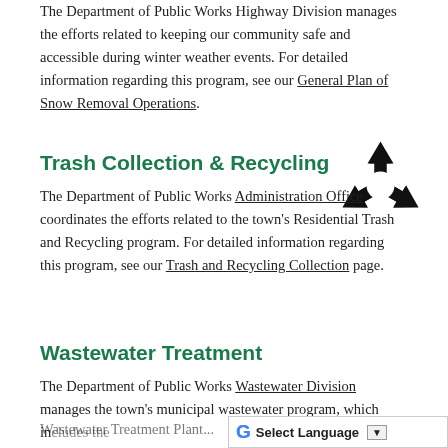The Department of Public Works Highway Division manages the efforts related to keeping our community safe and accessible during winter weather events. For detailed information regarding this program, see our General Plan of Snow Removal Operations.
Trash Collection & Recycling
[Figure (illustration): Recycling symbol — three arrows forming a triangle, black on white background]
The Department of Public Works Administration Office coordinates the efforts related to the town's Residential Trash and Recycling program. For detailed information regarding this program, see our Trash and Recycling Collection page.
Wastewater Treatment
The Department of Public Works Wastewater Division manages the town's municipal wastewater program, which in... Wastewater Treatment Plant...